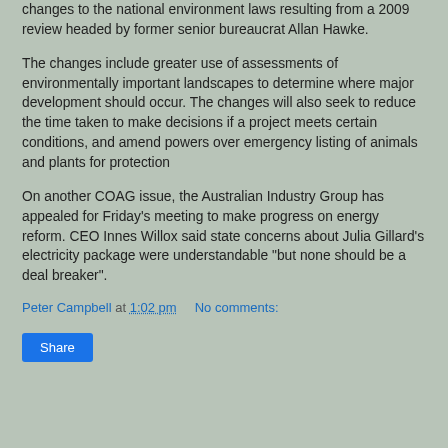changes to the national environment laws resulting from a 2009 review headed by former senior bureaucrat Allan Hawke.
The changes include greater use of assessments of environmentally important landscapes to determine where major development should occur. The changes will also seek to reduce the time taken to make decisions if a project meets certain conditions, and amend powers over emergency listing of animals and plants for protection
On another COAG issue, the Australian Industry Group has appealed for Friday's meeting to make progress on energy reform. CEO Innes Willox said state concerns about Julia Gillard's electricity package were understandable "but none should be a deal breaker".
Peter Campbell at 1:02 pm   No comments:
Share